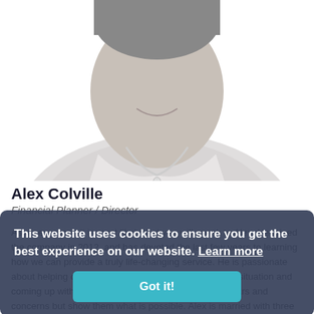[Figure (photo): Black and white headshot photo of Alex Colville, a man in a light polo shirt, smiling, cropped from shoulders up]
Alex Colville
Financial Planner / Director
As a new client, it is most likely that you will speak to Alex. He joined the company in 2012, and has devoted the last few years to learning how we can provide a truly life-changing service. He is passionate about helping clients to fully understand their financial situation and coming up with solutions that not only address their fears and concerns but show them what is possible. Alex is married with three children and,
This website uses cookies to ensure you get the best experience on our website. Learn more
Got it!